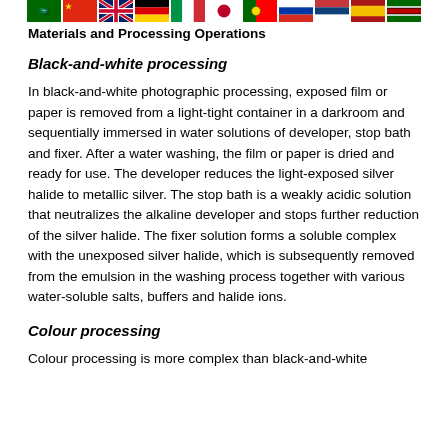[Figure (illustration): Row of country flags: Saudi Arabia, China, United Kingdom, Germany, Italy, Japan, Portugal, Russia, Serbia, Spain, Kenya]
Materials and Processing Operations
Black-and-white processing
In black-and-white photographic processing, exposed film or paper is removed from a light-tight container in a darkroom and sequentially immersed in water solutions of developer, stop bath and fixer. After a water washing, the film or paper is dried and ready for use. The developer reduces the light-exposed silver halide to metallic silver. The stop bath is a weakly acidic solution that neutralizes the alkaline developer and stops further reduction of the silver halide. The fixer solution forms a soluble complex with the unexposed silver halide, which is subsequently removed from the emulsion in the washing process together with various water-soluble salts, buffers and halide ions.
Colour processing
Colour processing is more complex than black-and-white